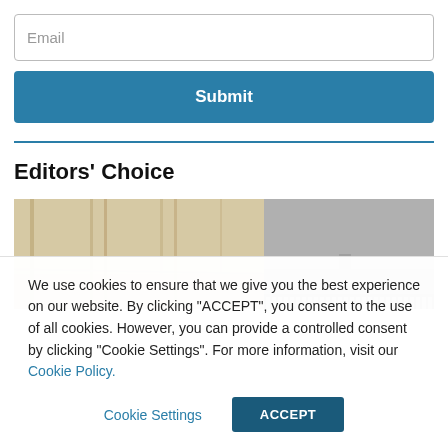Email
Submit
Editors' Choice
[Figure (photo): Architectural photo strip showing structural elements on the left (beams, pillars) and a grey building exterior on the right]
We use cookies to ensure that we give you the best experience on our website. By clicking “ACCEPT”, you consent to the use of all cookies. However, you can provide a controlled consent by clicking "Cookie Settings". For more information, visit our Cookie Policy.
Cookie Settings
ACCEPT